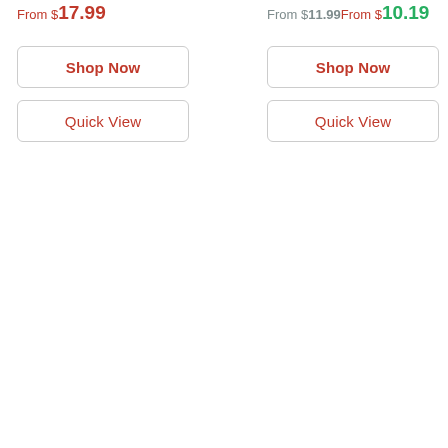From $17.99
From $11.99From $10.19
Shop Now
Shop Now
Quick View
Quick View